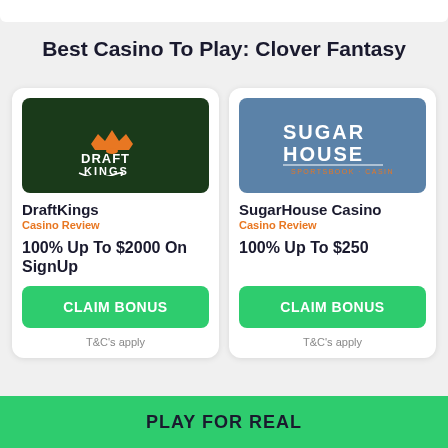Best Casino To Play: Clover Fantasy
[Figure (logo): DraftKings logo on dark green background]
DraftKings
Casino Review
100% Up To $2000 On SignUp
CLAIM BONUS
T&C's apply
[Figure (logo): SugarHouse Casino logo on blue background]
SugarHouse Casino
Casino Review
100% Up To $250
CLAIM BONUS
T&C's apply
PLAY FOR REAL